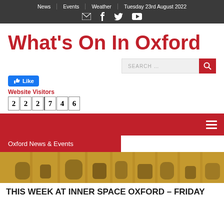News | Events | Weather | Tuesday 23rd August 2022
What's On In Oxford
[Figure (screenshot): Search bar with text 'SEARCH ...' and red search button]
[Figure (screenshot): Facebook Like button (blue), Website Visitors label in red, visitor counter showing 222746]
[Figure (screenshot): Red navigation bar with hamburger menu icon on right]
Oxford News & Events
[Figure (photo): Photograph of a classical Oxford stone building facade with columns and arched windows]
THIS WEEK AT INNER SPACE OXFORD – FRIDAY